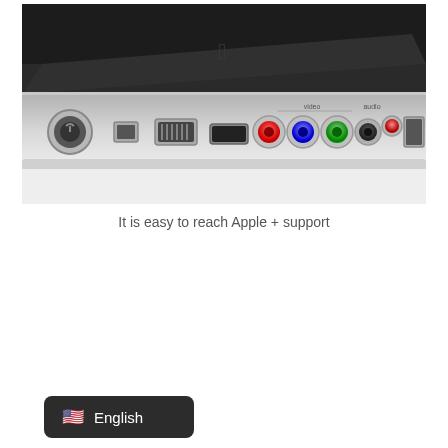[Figure (photo): Close-up photo of the back panel of an Apple Mac Mini or similar Apple device, showing various ports including power, FireWire, Ethernet, HDMI/DisplayPort, component video (red, blue, green colored connectors), audio ports, and a card slot. The device has a silver/aluminum finish.]
It is easy to reach Apple + support
[Figure (other): A dark rounded rectangle button/badge showing a US flag emoji followed by the text 'English', resembling a language selector widget.]